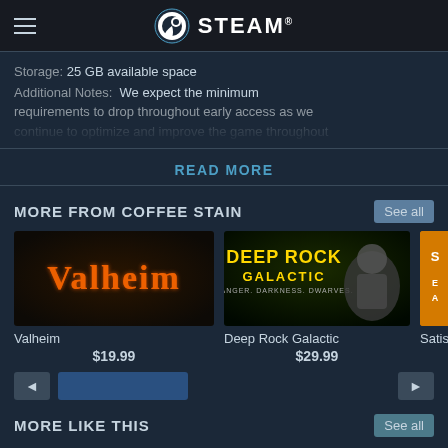Steam
Storage: 25 GB available space
Additional Notes: We expect the minimum requirements to drop throughout early access as we
READ MORE
MORE FROM COFFEE STAIN
See all
[Figure (screenshot): Valheim game thumbnail - dark fantasy logo with fiery orange lettering]
Valheim
$19.99
[Figure (screenshot): Deep Rock Galactic game thumbnail - yellow text on dark green background with space dwarf]
Deep Rock Galactic
$29.99
[Figure (screenshot): Partial game thumbnail - orange background with partial white text, likely Satisfactory]
Satis
MORE LIKE THIS
See all